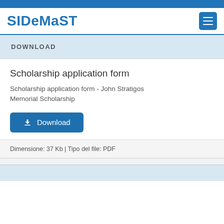SIDeMaST
DOWNLOAD
Scholarship application form
Scholarship application form - John Stratigos Memorial Scholarship
Download
Dimensione: 37 Kb | Tipo del file: PDF